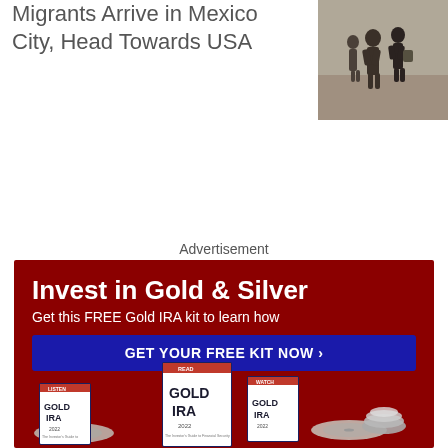Migrants Arrive in Mexico City, Head Towards USA
[Figure (photo): People walking, seen from behind or side, appears to be migrants in transit]
Advertisement
[Figure (infographic): Gold IRA investment advertisement with red background. Headline: 'Invest in Gold & Silver'. Subheadline: 'Get this FREE Gold IRA kit to learn how'. Button: 'GET YOUR FREE KIT NOW ›'. Shows Gold IRA 2022 book/kit products at bottom.]